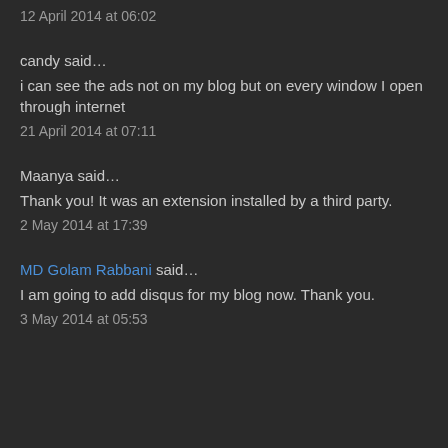12 April 2014 at 06:02
candy said…
i can see the ads not on my blog but on every window I open through internet
21 April 2014 at 07:11
Maanya said…
Thank you! It was an extension installed by a third party.
2 May 2014 at 17:39
MD Golam Rabbani said…
I am going to add disqus for my blog now. Thank you.
3 May 2014 at 05:53